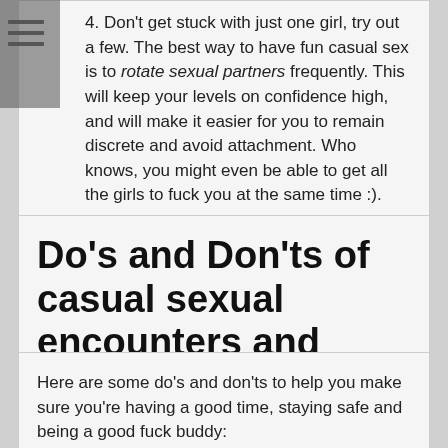4. Don't get stuck with just one girl, try out a few. The best way to have fun casual sex is to rotate sexual partners frequently. This will keep your levels on confidence high, and will make it easier for you to remain discrete and avoid attachment. Who knows, you might even be able to get all the girls to fuck you at the same time :).
Do's and Don'ts of casual sexual encounters and adult dating sites
Here are some do's and don'ts to help you make sure you're having a good time, staying safe and being a good fuck buddy: